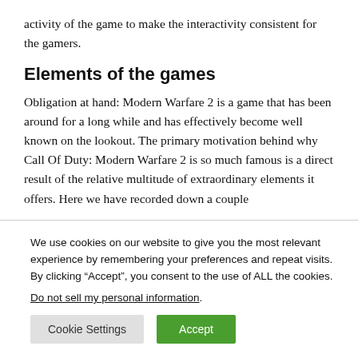activity of the game to make the interactivity consistent for the gamers.
Elements of the games
Obligation at hand: Modern Warfare 2 is a game that has been around for a long while and has effectively become well known on the lookout. The primary motivation behind why Call Of Duty: Modern Warfare 2 is so much famous is a direct result of the relative multitude of extraordinary elements it offers. Here we have recorded down a couple
We use cookies on our website to give you the most relevant experience by remembering your preferences and repeat visits. By clicking “Accept”, you consent to the use of ALL the cookies.
Do not sell my personal information.